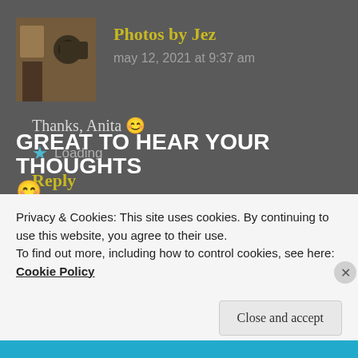[Figure (photo): Avatar photo of a person with camera against stone wall background]
Photos by Jez
may 12, 2021 at 9:37 am
Thanks, Anita 😊
★ Loading
Reply
GREAT TO HEAR YOUR THOUGHTS 😊
Privacy & Cookies: This site uses cookies. By continuing to use this website, you agree to their use.
To find out more, including how to control cookies, see here:
Cookie Policy
Close and accept